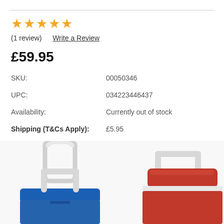★★★★★ (1 review)  Write a Review
£59.95
| Label | Value |
| --- | --- |
| SKU: | 00050346 |
| UPC: | 034223446437 |
| Availability: | Currently out of stock |
| Shipping (T&Cs Apply): | £5.95 |
[Figure (photo): Two cooler boxes with white handles — one blue and one red — photographed from above at an angle, partially cropped at the bottom of the page.]